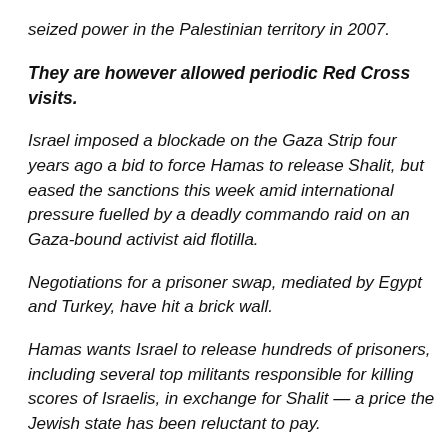seized power in the Palestinian territory in 2007.
They are however allowed periodic Red Cross visits.
Israel imposed a blockade on the Gaza Strip four years ago a bid to force Hamas to release Shalit, but eased the sanctions this week amid international pressure fuelled by a deadly commando raid on an Gaza-bound activist aid flotilla.
Negotiations for a prisoner swap, mediated by Egypt and Turkey, have hit a brick wall.
Hamas wants Israel to release hundreds of prisoners, including several top militants responsible for killing scores of Israelis, in exchange for Shalit — a price the Jewish state has been reluctant to pay.